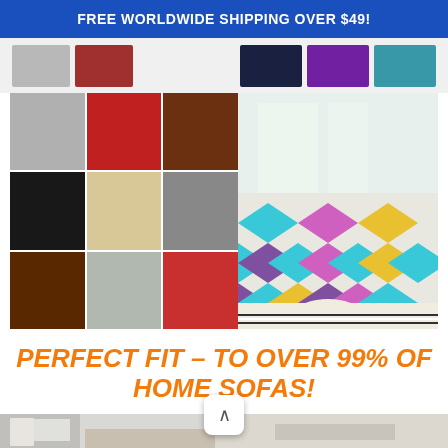FREE WORLDWIDE SHIPPING OVER $49!
[Figure (photo): Top strip showing multiple sofa color variants including navy, purple, teal colored sofas]
[Figure (photo): Product collage grid showing sofa covers in gray, red, brown, black, cream, dark brown, and various chair sizes]
[Figure (photo): Colorful patterned sofa cover with teal, pink, yellow, purple diamond/mandala pattern on a sofa in a living room]
PERFECT FIT – TO OVER 99% OF HOME SOFAS!
[Figure (photo): Left bottom: minimalist room with gray sofa and deer wall art]
[Figure (photo): Right bottom: two people stretching a gray sofa cover]